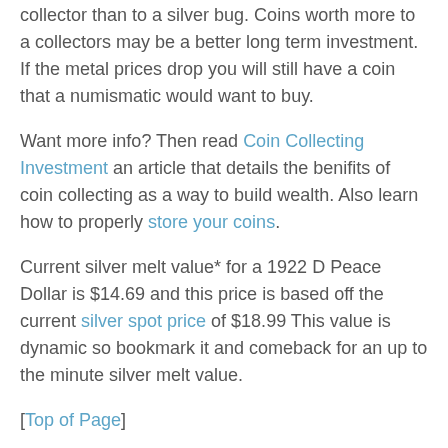collector than to a silver bug. Coins worth more to a collectors may be a better long term investment. If the metal prices drop you will still have a coin that a numismatic would want to buy.
Want more info? Then read Coin Collecting Investment an article that details the benifits of coin collecting as a way to build wealth. Also learn how to properly store your coins.
Current silver melt value* for a 1922 D Peace Dollar is $14.69 and this price is based off the current silver spot price of $18.99 This value is dynamic so bookmark it and comeback for an up to the minute silver melt value.
[Top of Page]
***Price subject to standard supply and demand